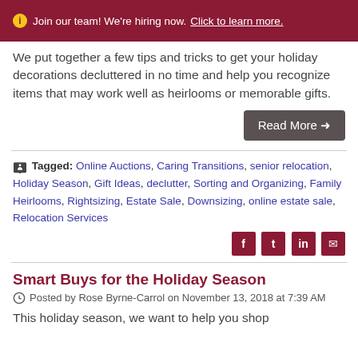ⓘ Join our team! We're hiring now. Click to learn more.
We put together a few tips and tricks to get your holiday decorations decluttered in no time and help you recognize items that may work well as heirlooms or memorable gifts.
Read More →
Tagged: Online Auctions, Caring Transitions, senior relocation, Holiday Season, Gift Ideas, declutter, Sorting and Organizing, Family Heirlooms, Rightsizing, Estate Sale, Downsizing, online estate sale, Relocation Services
Smart Buys for the Holiday Season
Posted by Rose Byrne-Carrol on November 13, 2018 at 7:39 AM
This holiday season, we want to help you shop